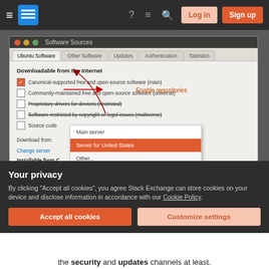Stack Exchange navigation bar with hamburger menu, logo, icons, Log in and Sign up buttons
[Figure (screenshot): Ubuntu Software Sources dialog showing tabs: Ubuntu Software, Other Software, Updates, Authentication, Statistics. Checkboxes for Canonical-supported free and open-source software (main), Community-maintained free and open-source software (universe), Proprietary drivers for devices (restricted), Software restricted by copyright or legal issues (multiverse), Source code. Download from: Main server / Change server dropdown showing Server for United States highlighted and Other... Server for United States is selected. Installable from CD section with text area. Arrows and annotation 'Enable repositories' pointing to checkboxes.]
Your privacy
By clicking "Accept all cookies", you agree Stack Exchange can store cookies on your device and disclose information in accordance with our Cookie Policy.
Accept all cookies
Customize settings
the security and updates channels at least.